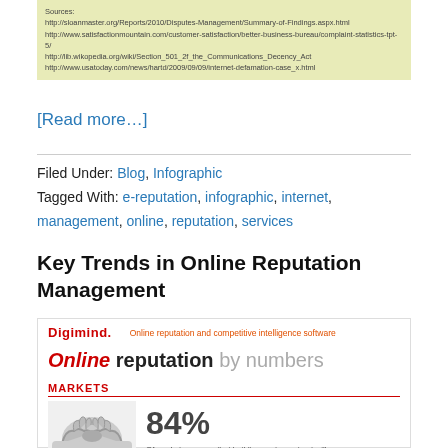Sources:
http://sloanmaster.org/Reports/2010/Disputes-Management/Summary-of-Findings.aspx.html
http://www.satisfactionmountain.com/customer-satisfaction/better-business-bureau/complaint-statistics-tpt-5/
http://lib.wikopedia.org/wiki/Section_501_2f_the_Communications_Decency_Act
http://www.usatoday.com/news/hartd/2009/09/09/internet-defamation-case_x.html
[Read more…]
Filed Under: Blog, Infographic
Tagged With: e-reputation, infographic, internet, management, online, reputation, services
Key Trends in Online Reputation Management
[Figure (infographic): Digimind infographic titled 'Online reputation by numbers' with a MARKETS section showing 84% statistic: Of marketers agree that building customer trust will become marketing's primary objective]